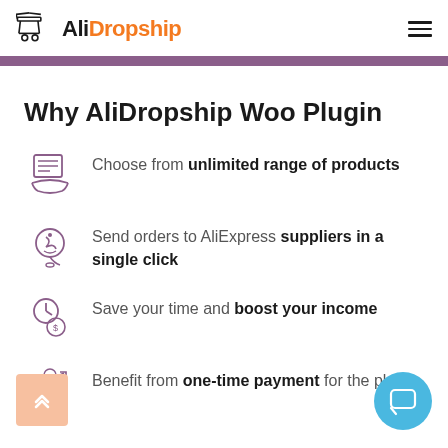AliDropship
Why AliDropship Woo Plugin
Choose from unlimited range of products
Send orders to AliExpress suppliers in a single click
Save your time and boost your income
Benefit from one-time payment for the plugin